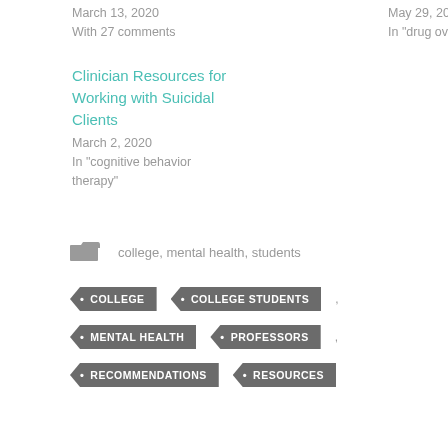March 13, 2020
With 27 comments
May 29, 2015
In "drug overdose"
Clinician Resources for Working with Suicidal Clients
March 2, 2020
In "cognitive behavior therapy"
college, mental health, students
COLLEGE
COLLEGE STUDENTS
MENTAL HEALTH
PROFESSORS
RECOMMENDATIONS
RESOURCES